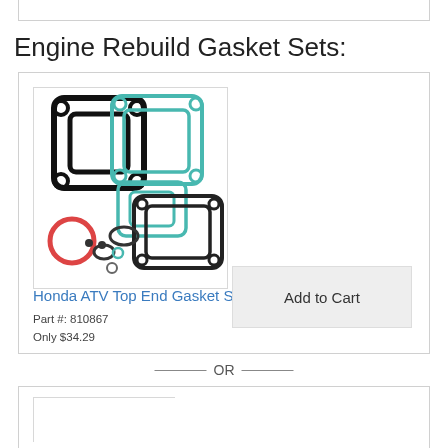Engine Rebuild Gasket Sets:
[Figure (photo): Honda ATV Top End Gasket Set product photo showing multiple gaskets including black head gasket, teal/turquoise cylinder gaskets, orange o-ring, and smaller seals and o-rings.]
Honda ATV Top End Gasket Set
Part #: 810867
Only $34.29
Add to Cart
— OR —